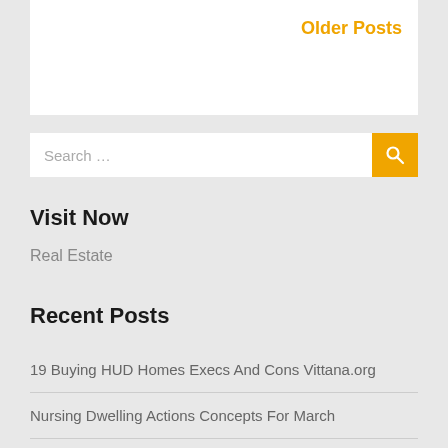Older Posts
Search ...
Visit Now
Real Estate
Recent Posts
19 Buying HUD Homes Execs And Cons Vittana.org
Nursing Dwelling Actions Concepts For March
Should You Buy A Home?